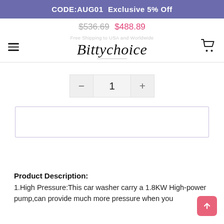CODE:AUG01  Exclusive 5% Off
$536.69  $488.89
[Figure (logo): Bittychoice script logo in black italic font]
Free Shipping to USA and Worldwide
- 1 +
Product Description:
1.High Pressure:This car washer carry a 1.8KW High-power pump,can provide much more pressure when you